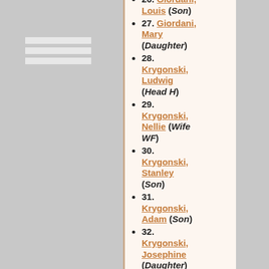27. Giordani, Mary (Daughter)
28. Krygonski, Ludwig (Head H)
29. Krygonski, Nellie (Wife WF)
30. Krygonski, Stanley (Son)
31. Krygonski, Adam (Son)
32. Krygonski, Josephine (Daughter)
33. Krygonski, ...